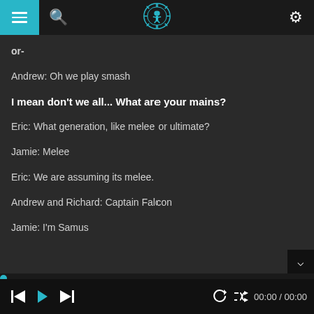[Figure (screenshot): App top navigation bar with teal hamburger menu icon, search icon, center podcast/robot logo, and settings gear icon on black background]
or-
Andrew: Oh we play smash
I mean don't we all... What are your mains?
Eric: What generation, like melee or ultimate?
Jamie: Melee
Eric: We are assuming its melee.
Andrew and Richard: Captain Falcon
Jamie: I'm Samus
[Figure (screenshot): Podcast player bottom bar with skip back, play, skip forward controls on left, and replay, shuffle, 00:00 / 00:00 time display on right]